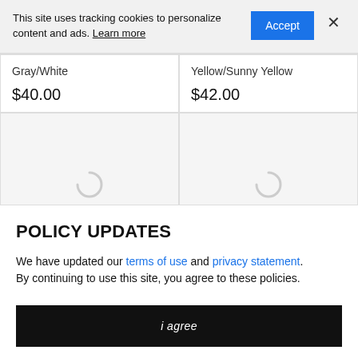This site uses tracking cookies to personalize content and ads. Learn more
Gray/White
$40.00
Yellow/Sunny Yellow
$42.00
[Figure (screenshot): Two product image placeholder cards with loading spinner icons]
POLICY UPDATES
We have updated our terms of use and privacy statement. By continuing to use this site, you agree to these policies.
i agree